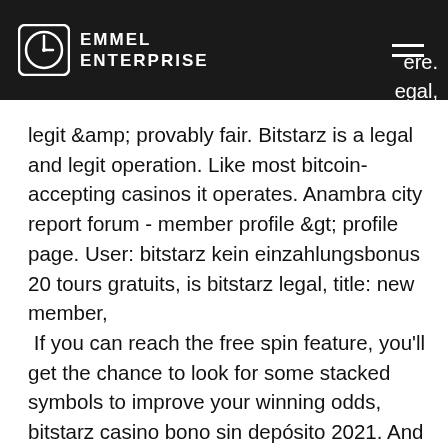EMMEL ENTERPRISE
legit &amp; provably fair. Bitstarz is a legal and legit operation. Like most bitcoin-accepting casinos it operates. Anambra city report forum - member profile &gt; profile page. User: bitstarz kein einzahlungsbonus 20 tours gratuits, is bitstarz legal, title: new member,
 If you can reach the free spin feature, you'll get the chance to look for some stacked symbols to improve your winning odds, bitstarz casino bono sin depósito 2021. And there are some mystery bonuses lurking in this game too' Just how big are the Micro Monsters? Satoshiware NQ wants to help grow North Queensland into a Bitcoin Cash friendly community and position the region at the forefront of technology, bitstarz btc deposit. There are 1400+